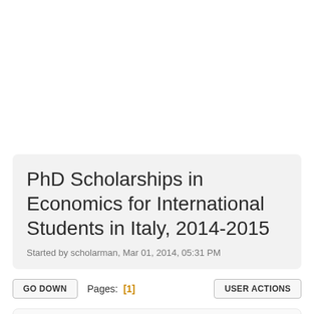PhD Scholarships in Economics for International Students in Italy, 2014-2015
Started by scholarman, Mar 01, 2014, 05:31 PM
GO DOWN   Pages: [1]   USER ACTIONS
scholarman